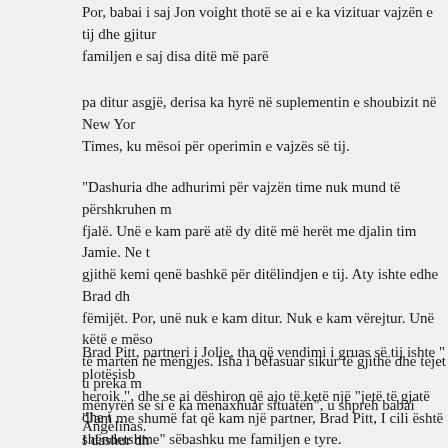Por, babai i saj Jon voight thotë se ai e ka vizituar vajzën e tij dhe gjithë familjen e saj disa ditë më parë
pa ditur asgjë, derisa ka hyrë në suplementin e shoubizit në New York Times, ku mësoi për operimin e vajzës së tij.
"Dashuria dhe adhurimi për vajzën time nuk mund të përshkruhen me fjalë. Unë e kam parë atë dy ditë më herët me djalin tim Jamie. Ne të gjithë kemi qenë bashkë për ditëlindjen e tij. Aty ishte edhe Brad dhe fëmijët. Por, unë nuk e kam ditur. Nuk e kam vërejtur. Unë këtë e mësova të martën në mëngjes. Isha i befasuar sikur të gjithë dhe tejet u preka mënyrën se si e ka menaxhuar situatën", u shpreh babai Angelinas.
Brad Pitt, partneri i Jolie, tha që vendimi i gruas së tij ishte " plotësisht heroik ", dhe se ai dëshiron që ajo të ketë një "jetë të gjatë dhe të shëndetshme" sëbashku me familjen e tyre.
"Jam me shumë fat që kam një partner, Brad Pitt, I cili është I dashur dhe mbështetës", tha Jolie.